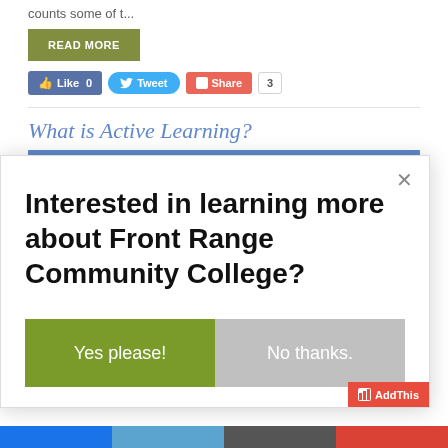counts some of t...
READ MORE
[Figure (screenshot): Social sharing buttons: Like 0 (Facebook), Tweet (Twitter), Share with count 3 (AddThis)]
What is Active Learning?
[Figure (screenshot): Modal dialog popup: 'Interested in learning more about Front Range Community College?' with 'Yes please!' (green) and 'No thanks.' (gray) buttons, and a close X button. AddThis branding in bottom right.]